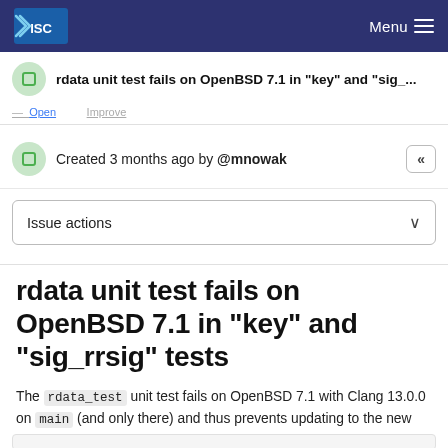ISC — Menu
rdata unit test fails on OpenBSD 7.1 in "key" and "sig_..."
Created 3 months ago by @mnowak
Issue actions
rdata unit test fails on OpenBSD 7.1 in "key" and "sig_rrsig" tests
The rdata_test unit test fails on OpenBSD 7.1 with Clang 13.0.0 on main (and only there) and thus prevents updating to the new release (images!163 (merged)):